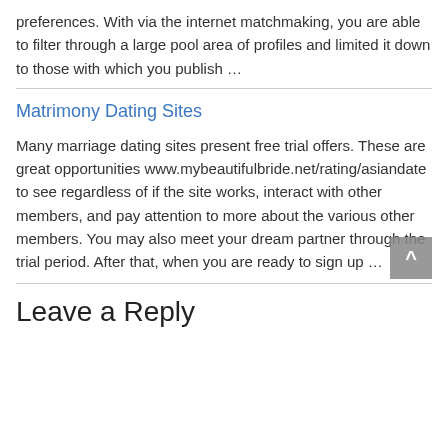preferences. With via the internet matchmaking, you are able to filter through a large pool area of profiles and limited it down to those with which you publish …
Matrimony Dating Sites
Many marriage dating sites present free trial offers. These are great opportunities www.mybeautifulbride.net/rating/asiandate to see regardless of if the site works, interact with other members, and pay attention to more about the various other members. You may also meet your dream partner through the trial period. After that, when you are ready to sign up …
Leave a Reply